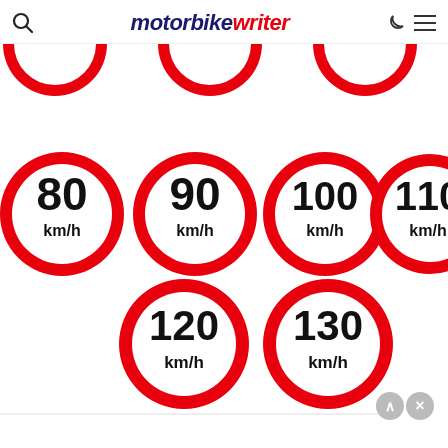motorbike writer
[Figure (illustration): Collection of circular speed limit signs showing 80, 90, 100, 110, 120, and 130 km/h, plus partial signs at top showing km/h. Signs are white with thick red borders and black bold numbers.]